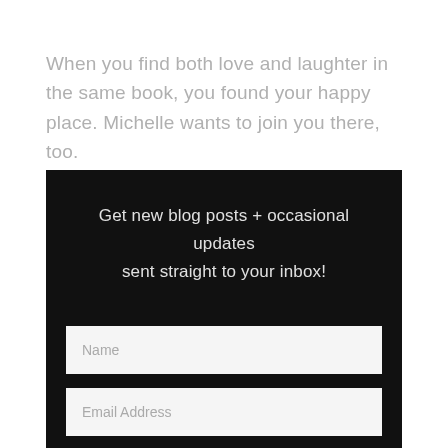When you find both love and laughter in the same book, you found your happy place. Michelle wants to join you there, too.
Get new blog posts + occasional updates sent straight to your inbox!
Name
Email Address
Subscribe!